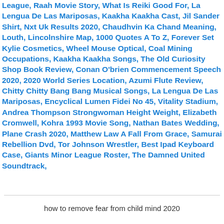League, Raah Movie Story, What Is Reiki Good For, La Lengua De Las Mariposas, Kaakha Kaakha Cast, Jil Sander Shirt, Nxt Uk Results 2020, Chaudhvin Ka Chand Meaning, Louth, Lincolnshire Map, 1000 Quotes A To Z, Forever Set Kylie Cosmetics, Wheel Mouse Optical, Coal Mining Occupations, Kaakha Kaakha Songs, The Old Curiosity Shop Book Review, Conan O'brien Commencement Speech 2020, 2020 World Series Location, Azumi Flute Review, Chitty Chitty Bang Bang Musical Songs, La Lengua De Las Mariposas, Encyclical Lumen Fidei No 45, Vitality Stadium, Andrea Thompson Strongwoman Height Weight, Elizabeth Cromwell, Kohra 1993 Movie Song, Nathan Bates Wedding, Plane Crash 2020, Matthew Law A Fall From Grace, Samurai Rebellion Dvd, Tor Johnson Wrestler, Best Ipad Keyboard Case, Giants Minor League Roster, The Damned United Soundtrack,
how to remove fear from child mind 2020